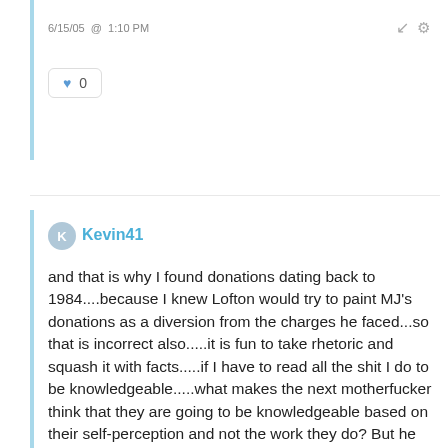6/15/05 @ 1:10 PM
♥ 0
Kevin41
and that is why I found donations dating back to 1984....because I knew Lofton would try to paint MJ's donations as a diversion from the charges he faced...so that is incorrect also.....it is fun to take rhetoric and squash it with facts.....if I have to read all the shit I do to be knowledgeable.....what makes the next motherfucker think that they are going to be knowledgeable based on their self-perception and not the work they do? But he has the nerve to call me pompous....funny indeed....pompous is thinking you can make whatever you want be facts